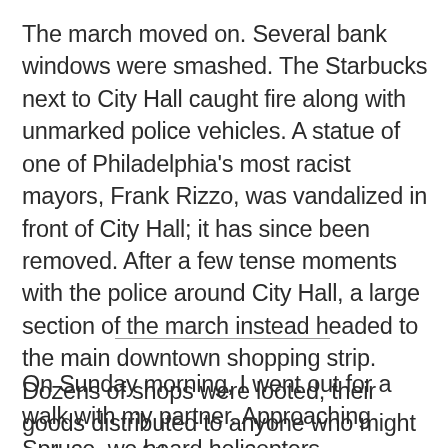The march moved on. Several bank windows were smashed. The Starbucks next to City Hall caught fire along with unmarked police vehicles. A statue of one of Philadelphia's most racist mayors, Frank Rizzo, was vandalized in front of City Hall; it has since been removed. After a few tense moments with the police around City Hall, a large section of the march instead headed to the main downtown shopping strip. Dozens of shops were looted, their goods distributed to anyone who might make use of them.
On Sunday morning, I went out for a walk with my partner. Approaching Spruce, we heard helicopters